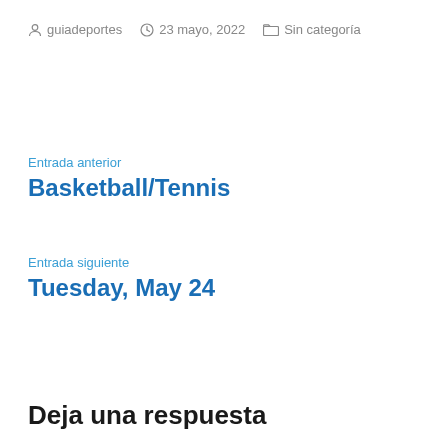guiadeportes   23 mayo, 2022   Sin categoría
Entrada anterior
Basketball/Tennis
Entrada siguiente
Tuesday, May 24
Deja una respuesta